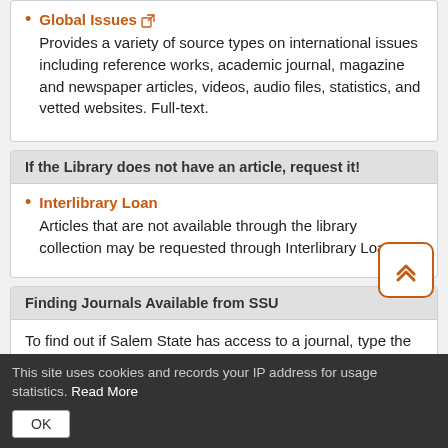Global Issues — Provides a variety of source types on international issues including reference works, academic journal, magazine and newspaper articles, videos, audio files, statistics, and vetted websites. Full-text.
If the Library does not have an article, request it!
Interlibrary Loan — Articles that are not available through the library collection may be requested through Interlibrary Loan.
Finding Journals Available from SSU
To find out if Salem State has access to a journal, type the name of the publication in the search box on the Library homepage and select the Journal Title Search tab above the box. A list of
This site uses cookies and records your IP address for usage statistics. Read More